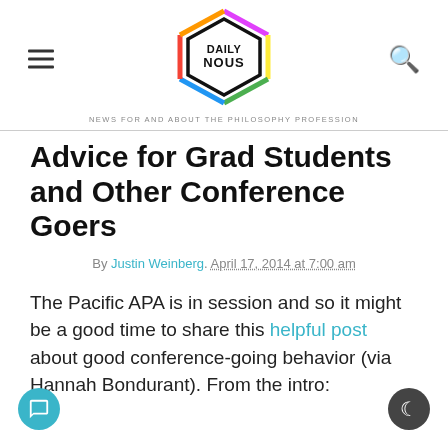[Figure (logo): Daily Nous logo — hexagon shape with colorful outline, text DAILYNOUS inside]
NEWS FOR AND ABOUT THE PHILOSOPHY PROFESSION
Advice for Grad Students and Other Conference Goers
By Justin Weinberg. April 17, 2014 at 7:00 am
The Pacific APA is in session and so it might be a good time to share this helpful post about good conference-going behavior (via Hannah Bondurant). From the intro: